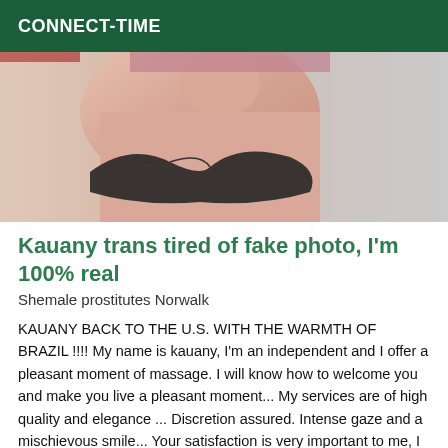CONNECT-TIME
[Figure (photo): Cropped photo showing a person's torso and neck wearing a black lace bra, with light skin tone and a neutral background]
Kauany trans tired of fake photo, I'm 100% real
Shemale prostitutes Norwalk
KAUANY BACK TO THE U.S. WITH THE WARMTH OF BRAZIL !!!! My name is kauany, I'm an independent and I offer a pleasant moment of massage. I will know how to welcome you and make you live a pleasant moment... My services are of high quality and elegance ... Discretion assured. Intense gaze and a mischievous smile... Your satisfaction is very important to me, I do everything I can to leave you happy and come back